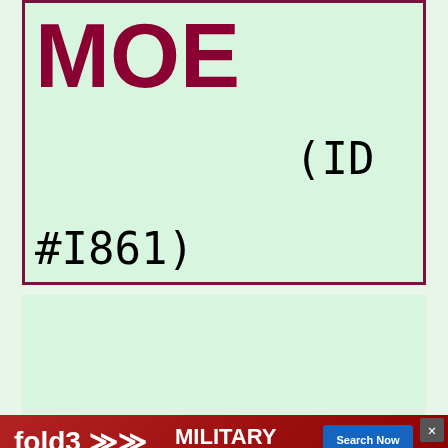MOE
(ID #I861)
(female)
Family 1
[Figure (other): Advertisement banner for fold3 Military Records by Ancestry with Search Now button]